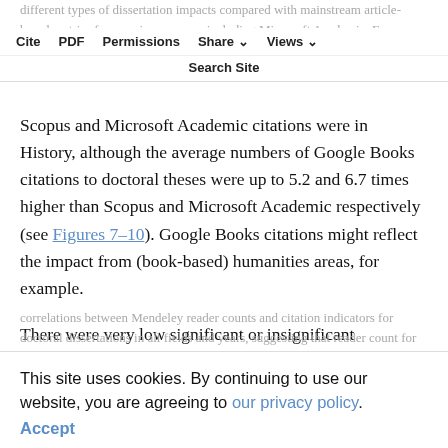different types of dissertation impacts compared with mainstream article-based metrics from various sources including Microsoft Academic. For instance, the lowest Spearman correlations between Google Books with
Cite | PDF | Permissions | Share | Views | Search Site
Scopus and Microsoft Academic citations were in History, although the average numbers of Google Books citations to doctoral theses were up to 5.2 and 6.7 times higher than Scopus and Microsoft Academic respectively (see Figures 7–10). Google Books citations might reflect the impact from (book-based) humanities areas, for example.
There were very low significant or insignificant correlations between Mendeley reader counts and citation indicators for doctoral dissertations in all fields and years, suggesting that reader count for dissertations rarely translate into the citations found by
This site uses cookies. By continuing to use our website, you are agreeing to our privacy policy.
Accept